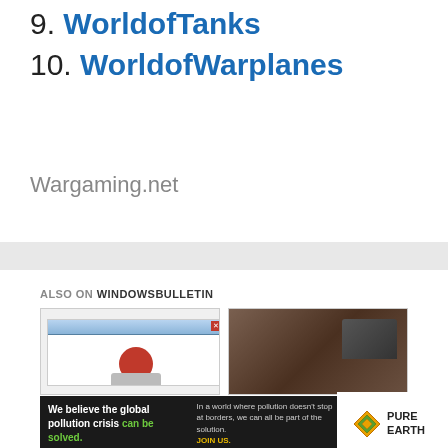9. WorldofTanks
10. WorldofWarplanes
Wargaming.net
ALSO ON WINDOWSBULLETIN
[Figure (screenshot): Screenshot thumbnail showing a Windows error dialog with a red circle icon]
[Figure (photo): Photo thumbnail showing a person wearing a dark cap]
[Figure (other): Advertisement banner: We believe the global pollution crisis can be solved. In a world where pollution doesn't stop at borders, we can all be part of the solution. JOIN US. Pure Earth logo.]